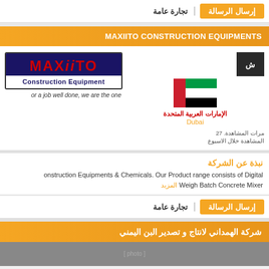إرسال الرسالة
تجارة عامة
MAXIITO CONSTRUCTION EQUIPMENTS
[Figure (logo): MAXiiiTO Construction Equipment logo with dark blue and red text, tagline: or a job well done, we are the one]
الإمارات العربية المتحدة
Dubai
مرات المشاهدة. 27 المشاهدة خلال الاسبوع
نبذة عن الشركة
onstruction Equipments & Chemicals. Our Product range consists of Digital Weigh Batch Concrete Mixer المزيد
إرسال الرسالة
تجارة عامة
شركة الهمداني لانتاج و تصدير البن اليمني